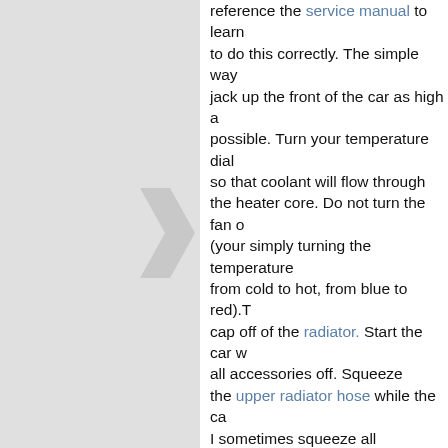reference the service manual to learn to do this correctly. The simple way jack up the front of the car as high as possible. Turn your temperature dial so that coolant will flow through the heater core. Do not turn the fan on (your simply turning the temperature from cold to hot, from blue to red). Take the cap off of the radiator. Start the car with all accessories off. Squeeze the upper radiator hose while the car is running. I sometimes squeeze all the hoses that coolant flow through. You will see the air bubbles coming out of the top of the radiator. I usually let the fans come on about 2 or more times before the system is fully bled.
3. CHECK FOR VACUUM LEAKS: Start the car, spray (highly flammable...be careful) carb/choke cleaner around the different areas of the engine bay such as hoses, throttle body, intake manifold. If the idle surges when you spray in a particular area you will have found a...